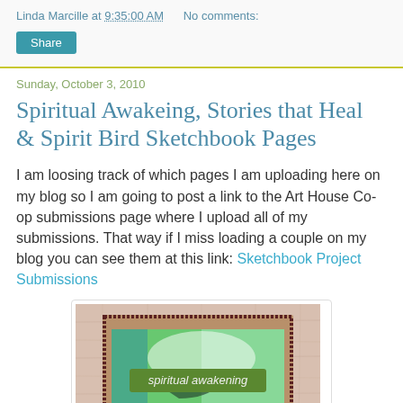Linda Marcille at 9:35:00 AM    No comments:
Share
Sunday, October 3, 2010
Spiritual Awakeing, Stories that Heal & Spirit Bird Sketchbook Pages
I am loosing track of which pages I am uploading here on my blog so I am going to post a link to the Art House Co-op submissions page where I upload all of my submissions. That way if I miss loading a couple on my blog you can see them at this link: Sketchbook Project Submissions
[Figure (photo): A handmade sketchbook page with textured pink/beige paper background and a rectangular artwork showing green and teal colors with the text 'spiritual awakening' overlaid on it.]